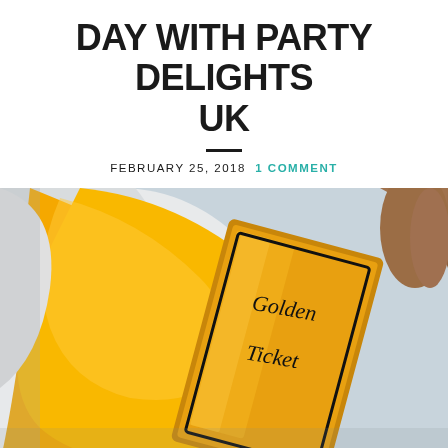DAY WITH PARTY DELIGHTS UK
FEBRUARY 25, 2018  1 COMMENT
[Figure (photo): Close-up photo of a golden 'Golden Ticket' being held by a person's hand, with a yellow balloon in the background. The ticket is metallic gold with black text and a black border.]